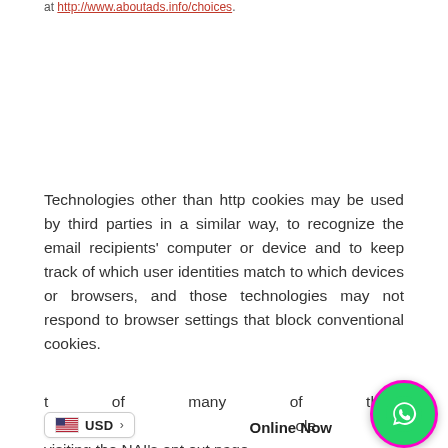at http://www.aboutads.info/choices.
Technologies other than http cookies may be used by third parties in a similar way, to recognize the email recipients' computer or device and to keep track of which user identities match to which devices or browsers, and those technologies may not respond to browser settings that block conventional cookies.
t of many of these typ…   …visiting the NAI's opt out page
[Figure (screenshot): USD currency selector widget with US flag]
[Figure (screenshot): Online Now label with WhatsApp button in green circle with pink border]